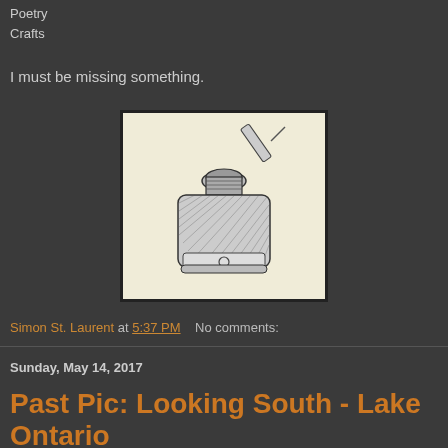Poetry
Crafts
I must be missing something.
[Figure (illustration): Black ink pen-and-ink drawing of an ink bottle with a dropper or nib pen resting on top, showing a drop of ink falling into the bottle opening, on a cream/beige background]
Simon St. Laurent at 5:37 PM   No comments:
Sunday, May 14, 2017
Past Pic: Looking South - Lake Ontario